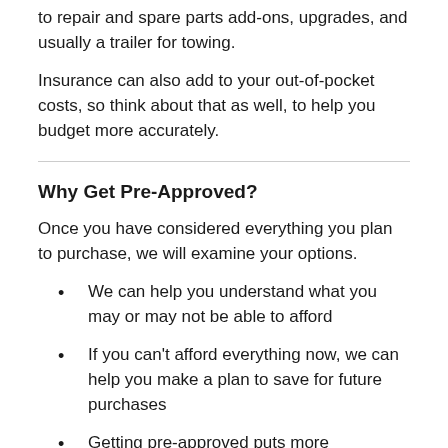to repair and spare parts add-ons, upgrades, and usually a trailer for towing.
Insurance can also add to your out-of-pocket costs, so think about that as well, to help you budget more accurately.
Why Get Pre-Approved?
Once you have considered everything you plan to purchase, we will examine your options.
We can help you understand what you may or may not be able to afford
If you can't afford everything now, we can help you make a plan to save for future purchases
Getting pre-approved puts more purchasing power in your hands when talking with the sales rep.